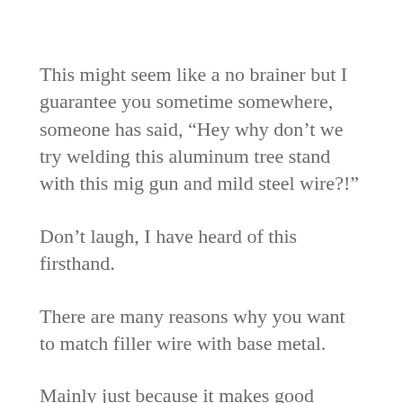This might seem like a no brainer but I guarantee you sometime somewhere, someone has said, "Hey why don’t we try welding this aluminum tree stand with this mig gun and mild steel wire?!"
Don’t laugh, I have heard of this firsthand.
There are many reasons why you want to match filler wire with base metal.
Mainly just because it makes good sense. Most of us welders know that you can weld mild steel with stainless rod. (Heck, I have worked at shops